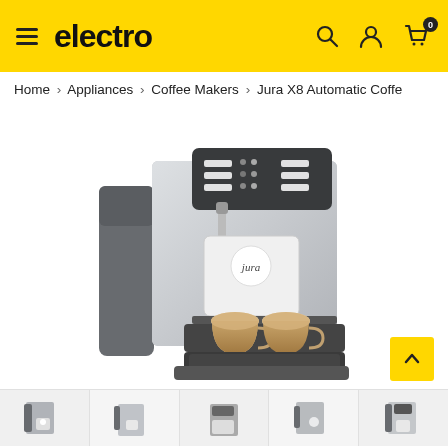electro
Home > Appliances > Coffee Makers > Jura X8 Automatic Coffe
[Figure (photo): Jura X8 Automatic Coffee Machine in silver/platinum color with two coffee cups filled with latte/cappuccino underneath the spout, displayed on a white background]
[Figure (photo): Thumbnail strip showing multiple views of the Jura X8 coffee machine]